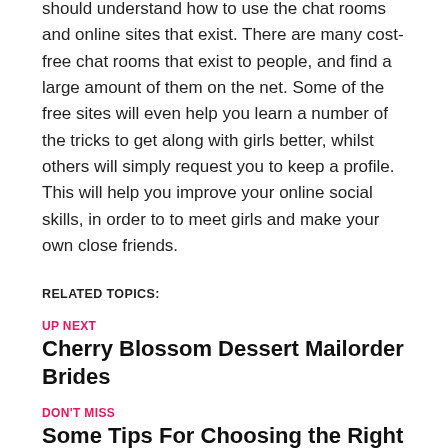should understand how to use the chat rooms and online sites that exist. There are many cost-free chat rooms that exist to people, and find a large amount of them on the net. Some of the free sites will even help you learn a number of the tricks to get along with girls better, whilst others will simply request you to keep a profile. This will help you improve your online social skills, in order to to meet girls and make your own close friends.
RELATED TOPICS:
UP NEXT
Cherry Blossom Dessert Mailorder Brides
DON'T MISS
Some Tips For Choosing the Right Bride For The Own Wedding
ADVERTISEMENT